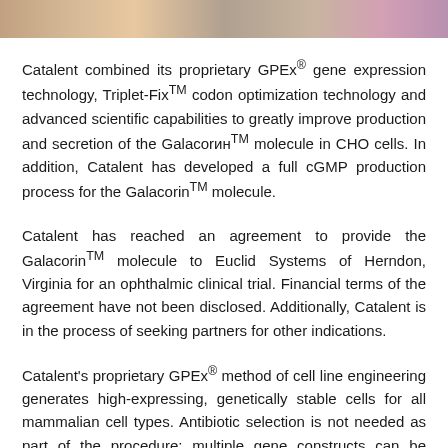[Figure (photo): Horizontal image strip at top of page showing blurred/cropped photos of people or laboratory scenes in warm tones]
Catalent combined its proprietary GPEx® gene expression technology, Triplet-FixTM codon optimization technology and advanced scientific capabilities to greatly improve production and secretion of the GalacorinTM molecule in CHO cells. In addition, Catalent has developed a full cGMP production process for the GalacorinTM molecule.
Catalent has reached an agreement to provide the GalacorinTM molecule to Euclid Systems of Herndon, Virginia for an ophthalmic clinical trial. Financial terms of the agreement have not been disclosed. Additionally, Catalent is in the process of seeking partners for other indications.
Catalent's proprietary GPEx® method of cell line engineering generates high-expressing, genetically stable cells for all mammalian cell types. Antibiotic selection is not needed as part of the procedure; multiple gene constructs can be added individually or simultaneously to the host chromosome ...